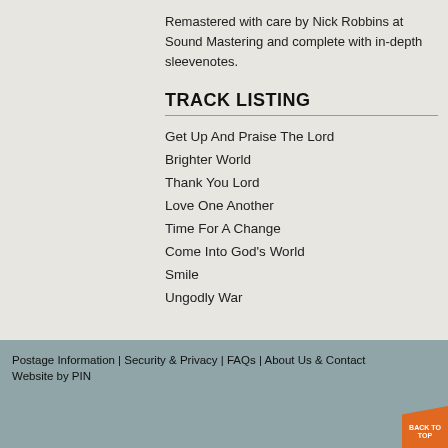Remastered with care by Nick Robbins at Sound Mastering and complete with in-depth sleevenotes.
TRACK LISTING
Get Up And Praise The Lord
Brighter World
Thank You Lord
Love One Another
Time For A Change
Come Into God’s World
Smile
Ungodly War
Postage Information | Security & Privacy | FAQs | About Us & Contact
Website by PIN